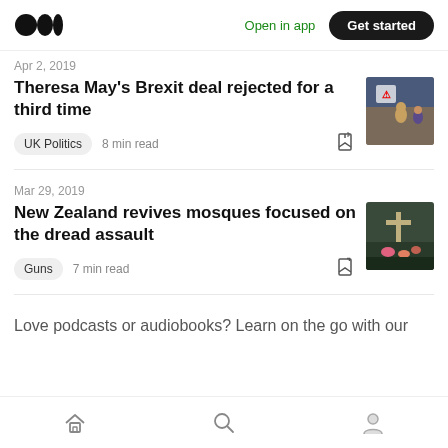Medium — Open in app | Get started
Apr 2, 2019
Theresa May's Brexit deal rejected for a third time
UK Politics · 8 min read
Mar 29, 2019
New Zealand revives mosques focused on the dread assault
Guns · 7 min read
Love podcasts or audiobooks? Learn on the go with our
Home | Search | Profile